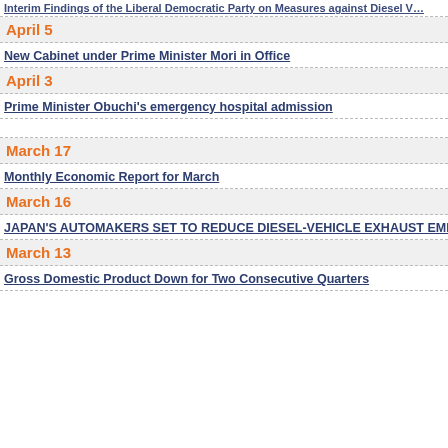Interim Findings of the Liberal Democratic Party on Measures against Diesel V…
April 5
New Cabinet under Prime Minister Mori in Office
April 3
Prime Minister Obuchi's emergency hospital admission
March 17
Monthly Economic Report for March
March 16
JAPAN'S AUTOMAKERS SET TO REDUCE DIESEL-VEHICLE EXHAUST EMISSI…
March 13
Gross Domestic Product Down for Two Consecutive Quarters